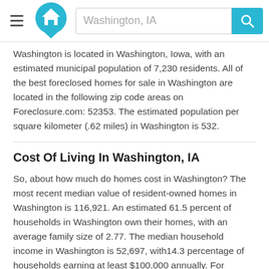Washington, IA
Washington is located in Washington, Iowa, with an estimated municipal population of 7,230 residents. All of the best foreclosed homes for sale in Washington are located in the following zip code areas on Foreclosure.com: 52353. The estimated population per square kilometer (.62 miles) in Washington is 532.
Cost Of Living In Washington, IA
So, about how much do homes cost in Washington? The most recent median value of resident-owned homes in Washington is 116,921. An estimated 61.5 percent of households in Washington own their homes, with an average family size of 2.77. The median household income in Washington is 52,697, with14.3 percentage of households earning at least $100,000 annually. For working parents and professionals who are searching for cheap homes in Washington, the median commute time of resident workers (in minutes) is 17.4. And last, but certainly not